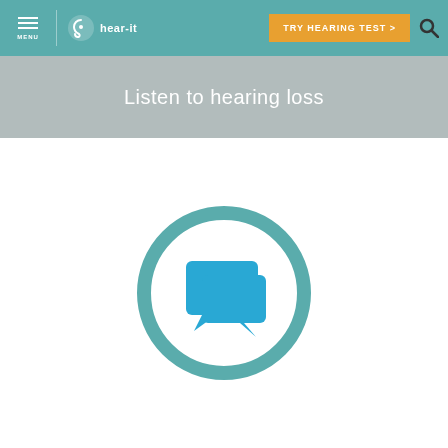MENU | hear-it | TRY HEARING TEST >
Listen to hearing loss
[Figure (illustration): A teal circular ring icon containing a blue speech/conversation bubble icon in the center, representing audio or communication related to hearing loss]